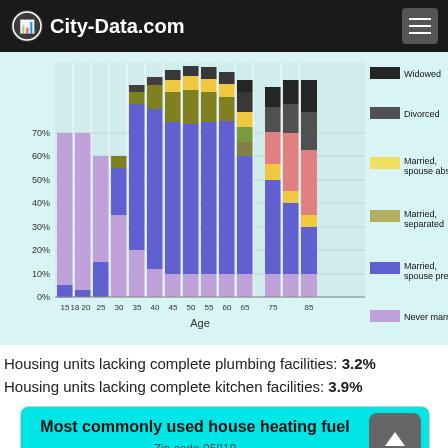City-Data.com
[Figure (stacked-bar-chart): Marital status by age]
Housing units lacking complete plumbing facilities: 3.2%
Housing units lacking complete kitchen facilities: 3.9%
Most commonly used house heating fuel
Zip code 05819